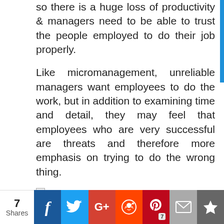so there is a huge loss of productivity & managers need to be able to trust the people employed to do their job properly.
Like micromanagement, unreliable managers want employees to do the work, but in addition to examining time and detail, they may feel that employees who are very successful are threats and therefore more emphasis on trying to do the wrong thing.
[Figure (other): Broken image placeholder with alt text 'Signs you are a bad boss' with strikethrough]
Signs you are a bad boss: Bad boss characteristics ruin relationship,
7 Shares | Facebook | Twitter | Google+ | Reddit | Pinterest | Email | Other — 7